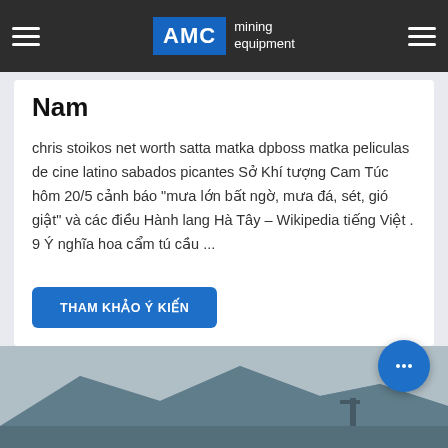AMC mining equipment
Nam
chris stoikos net worth satta matka dpboss matka peliculas de cine latino sabados picantes Sở Khí tượng Cam Túc hôm 20/5 cảnh báo "mưa lớn bất ngờ, mưa đá, sét, gió giật" và các điều Hành lang Hà Tây – Wikipedia tiếng Việt . 9 Ý nghĩa hoa cẩm tú cầu ...
THAM KHẢO Ý KIẾN
[Figure (photo): Mining site with excavation equipment and rocky terrain]